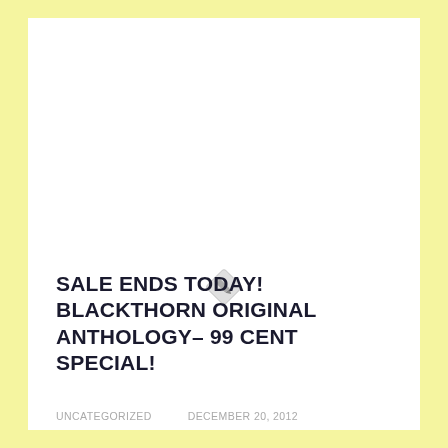[Figure (illustration): Small diamond-shaped icon with a pencil or pen symbol inside, light gray color]
SALE ENDS TODAY! BLACKTHORN ORIGINAL ANTHOLOGY– 99 CENT SPECIAL!
UNCATEGORIZED    DECEMBER 20, 2012